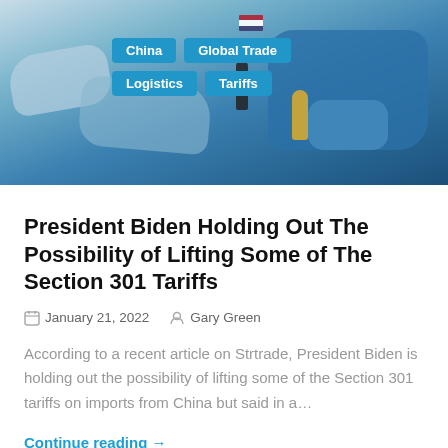[Figure (photo): Hero image showing a world map with chess pieces and US flag, with category tags overlaid: China, Global Trade, Logistics, Tariffs]
President Biden Holding Out The Possibility of Lifting Some of The Section 301 Tariffs
January 21, 2022  Gary Green
According to a recent article on Strtrade, President Biden is holding out the possibility of lifting some of the Section 301 tariffs on imports from China but said in a…
Continue reading →